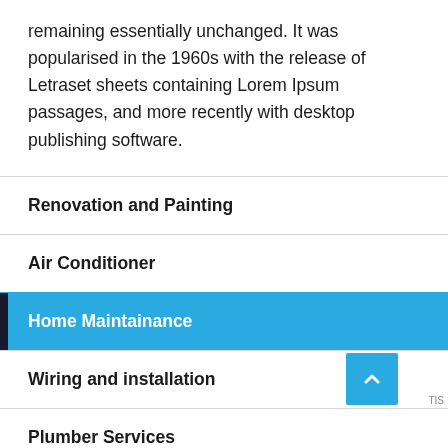remaining essentially unchanged. It was popularised in the 1960s with the release of Letraset sheets containing Lorem Ipsum passages, and more recently with desktop publishing software.
Renovation and Painting
Air Conditioner
Home Maintainance
Wiring and installation
Plumber Services